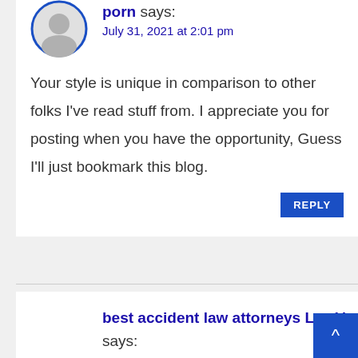[Figure (illustration): Default avatar circle with grey silhouette and blue border]
porn says:
July 31, 2021 at 2:01 pm
Your style is unique in comparison to other folks I've read stuff from. I appreciate you for posting when you have the opportunity, Guess I'll just bookmark this blog.
REPLY
best accident law attorneys Las Vegas says: